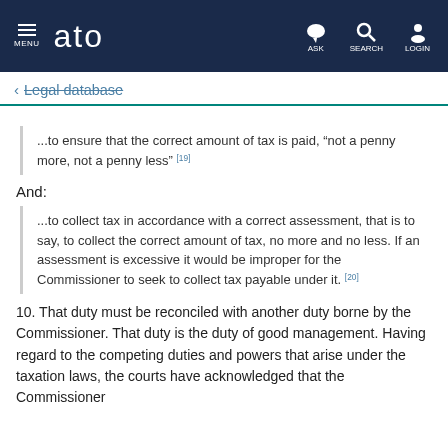ATO Legal database — navigation bar
← Legal database
...to ensure that the correct amount of tax is paid, "not a penny more, not a penny less" [19]
And:
...to collect tax in accordance with a correct assessment, that is to say, to collect the correct amount of tax, no more and no less. If an assessment is excessive it would be improper for the Commissioner to seek to collect tax payable under it. [20]
10. That duty must be reconciled with another duty borne by the Commissioner. That duty is the duty of good management. Having regard to the competing duties and powers that arise under the taxation laws, the courts have acknowledged that the Commissioner